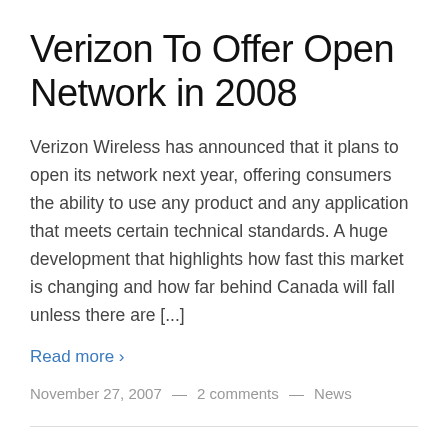Verizon To Offer Open Network in 2008
Verizon Wireless has announced that it plans to open its network next year, offering consumers the ability to use any product and any application that meets certain technical standards. A huge development that highlights how fast this market is changing and how far behind Canada will fall unless there are [...]
Read more ›
November 27, 2007  —  2 comments  —  News
The Legal Battle over